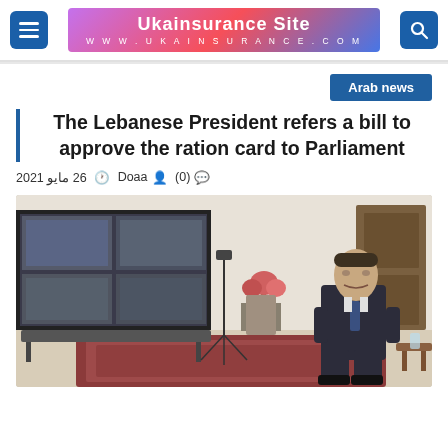Ukainsurance Site | WWW.UKAINSURANCE.COM
Arab news
The Lebanese President refers a bill to approve the ration card to Parliament
Doaa  (0)  26 مايو 2021
[Figure (photo): A man in a dark suit sits in a formal room with a large video monitor wall on the left showing news footage, a camera on a tripod, and ornate decor including flowers and a patterned rug.]